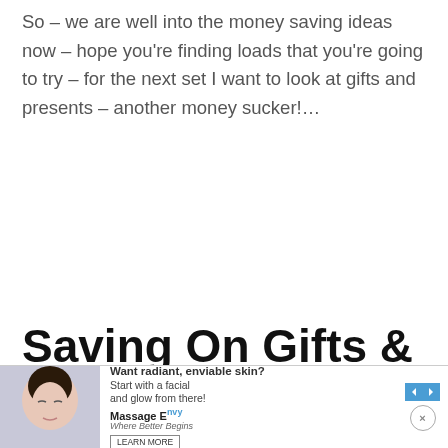So – we are well into the money saving ideas now – hope you're finding loads that you're going to try – for the next set I want to look at gifts and presents – another money sucker!…
Saving On Gifts &
Pre...
[Figure (photo): Advertisement banner: woman with eyes closed receiving facial treatment. Text: 'Want radiant, enviable skin? Start with a facial and glow from there!' Massage Envy brand logo with tagline 'Where Better Begins' and Learn More button.]